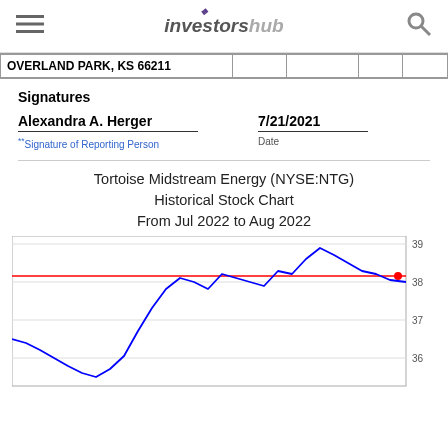investorshub
| OVERLAND PARK, KS 66211 |  |  |  |  |
| --- | --- | --- | --- | --- |
|  |
Signatures
Alexandra A. Herger   7/21/2021
**Signature of Reporting Person   Date
Tortoise Midstream Energy (NYSE:NTG) Historical Stock Chart From Jul 2022 to Aug 2022
[Figure (continuous-plot): Historical stock price chart for Tortoise Midstream Energy (NYSE:NTG) from Jul 2022 to Aug 2022. Blue line showing stock price movement, red horizontal reference line around 38.15. Y-axis shows values from approximately 36 to 39. Stock starts around 36.5, dips to ~35.5, then rises to peak near 39, then settles around 38.]